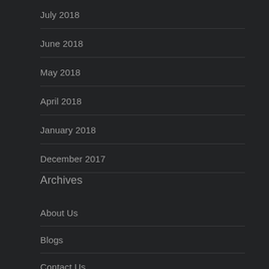July 2018
June 2018
May 2018
April 2018
January 2018
December 2017
Archives
About Us
Blogs
Contact Us
Home